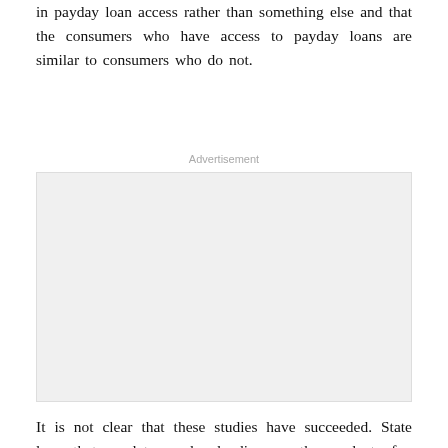in payday loan access rather than something else and that the consumers who have access to payday loans are similar to consumers who do not.
[Figure (other): Advertisement placeholder box]
It is not clear that these studies have succeeded. State laws that regulate payday lending are the product of a political process that also produces laws affecting many other aspects of the local economic and social environment, including the availability of other financial services, quality of educational services, and types of employment opportunities. A state that sharply limits personal or auto loan rates, for example, would hardly be inclined to authorize rate ceilings that permit payday lending. Geographic proximity or accounting for differences between bordering states may not isolate changes in payday loan access rather than something else and that